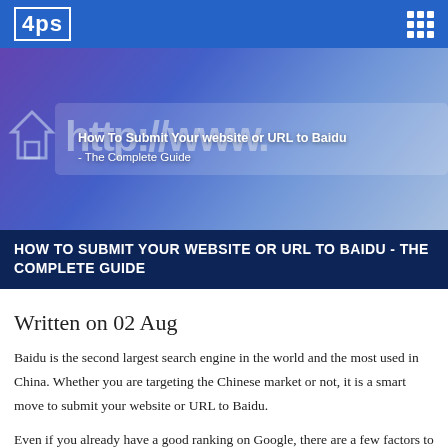4ps
[Figure (photo): Hero image showing a browser URL bar with http://www. text, overlaid with the article title 'How To Submit Your website or URL to Baidu - The Complete Guide'. Background has purple-blue gradient.]
HOW TO SUBMIT YOUR WEBSITE OR URL TO BAIDU - THE COMPLETE GUIDE
Written on 02 Aug
Baidu is the second largest search engine in the world and the most used in China. Whether you are targeting the Chinese market or not, it is a smart move to submit your website or URL to Baidu.
Even if you already have a good ranking on Google, there are a few factors to consider that may make it worthwhile to go